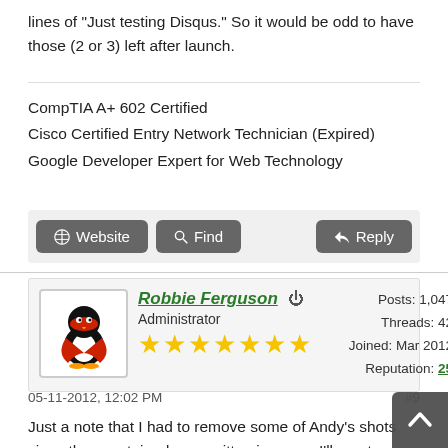lines of "Just testing Disqus." So it would be odd to have those (2 or 3) left after launch.
CompTIA A+ 602 Certified
Cisco Certified Entry Network Technician (Expired)
Google Developer Expert for Web Technology
Website   Find   Reply
Robbie Ferguson  Administrator  Posts: 1,047  Threads: 42  Joined: Mar 2012  Reputation: 25
05-11-2012, 12:02 PM  #9
Just a note that I had to remove some of Andy's shots since they contained copywritten imagery. I'll create an official "te on the new site at some point, but you can imagine that we don't wanna host copywritten material on the Photo Booth. Mug shots only.